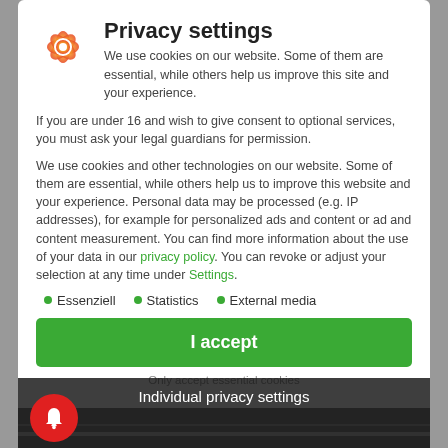[Figure (logo): Circular orange and yellow flower-like logo icon]
Privacy settings
We use cookies on our website. Some of them are essential, while others help us improve this site and your experience.
If you are under 16 and wish to give consent to optional services, you must ask your legal guardians for permission.
We use cookies and other technologies on our website. Some of them are essential, while others help us to improve this website and your experience. Personal data may be processed (e.g. IP addresses), for example for personalized ads and content or ad and content measurement. You can find more information about the use of your data in our privacy policy. You can revoke or adjust your selection at any time under Settings.
Essenziell
Statistics
External media
I accept
Only accept essential cookies
Individual privacy settings